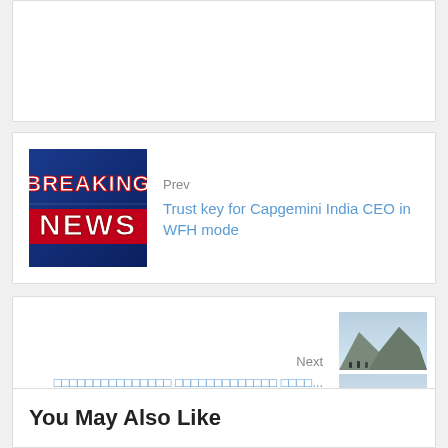[Figure (other): Blank white card area at top]
Prev
Trust key for Capgemini India CEO in WFH mode
[Figure (photo): Breaking News graphic with red and white text on blue background]
Next
□□□□□□□□□□□□□□□ □□□□□□□□□□□□□ □□□□...
[Figure (photo): Mountain/landscape photo top]
[Figure (photo): Mountain/landscape photo bottom]
You May Also Like